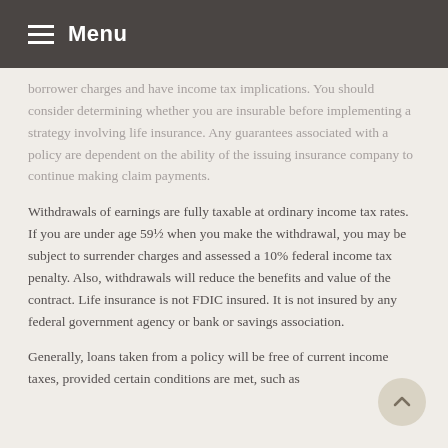Menu
borrower charges and have income tax implications. You should consider determining whether you are insurable before implementing a strategy involving life insurance. Any guarantees associated with a policy are dependent on the ability of the issuing insurance company to continue making claim payments.
Withdrawals of earnings are fully taxable at ordinary income tax rates. If you are under age 59½ when you make the withdrawal, you may be subject to surrender charges and assessed a 10% federal income tax penalty. Also, withdrawals will reduce the benefits and value of the contract. Life insurance is not FDIC insured. It is not insured by any federal government agency or bank or savings association.
Generally, loans taken from a policy will be free of current income taxes, provided certain conditions are met, such as